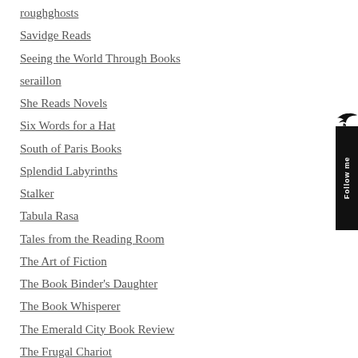roughghosts
Savidge Reads
Seeing the World Through Books
seraillon
She Reads Novels
Six Words for a Hat
South of Paris Books
Splendid Labyrinths
Stalker
Tabula Rasa
Tales from the Reading Room
The Art of Fiction
The Book Binder's Daughter
The Book Whisperer
The Emerald City Book Review
The Frugal Chariot
The humble Book Giant
The Literary Lollipop
The Little Reader Library
[Figure (illustration): A small black bird silhouette above a vertical black badge with 'Follow me' text in white, rotated 90 degrees]